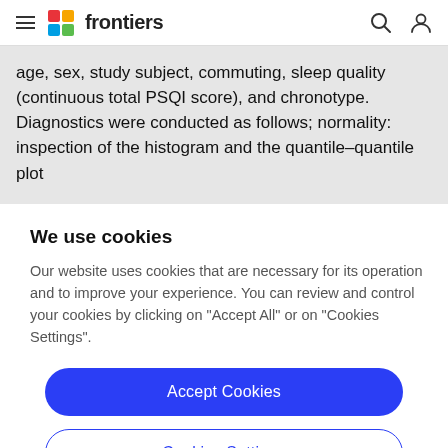frontiers
age, sex, study subject, commuting, sleep quality (continuous total PSQI score), and chronotype. Diagnostics were conducted as follows; normality: inspection of the histogram and the quantile–quantile plot
We use cookies
Our website uses cookies that are necessary for its operation and to improve your experience. You can review and control your cookies by clicking on "Accept All" or on "Cookies Settings".
Accept Cookies
Cookies Settings